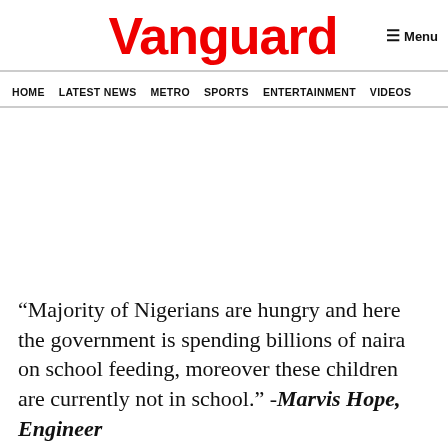Vanguard
HOME  LATEST NEWS  METRO  SPORTS  ENTERTAINMENT  VIDEOS
“Majority of Nigerians are hungry and here the government is spending billions of naira on school feeding, moreover these children are currently not in school.” -Marvis Hope, Engineer